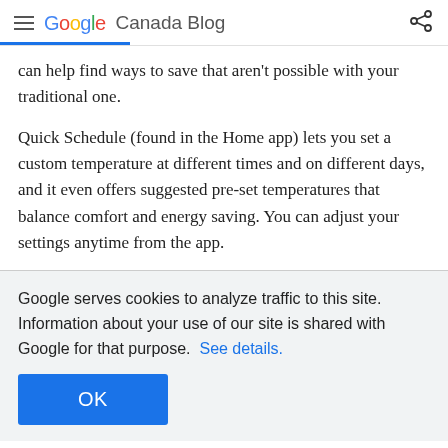Google Canada Blog
can help find ways to save that aren't possible with your traditional one.
Quick Schedule (found in the Home app) lets you set a custom temperature at different times and on different days, and it even offers suggested pre-set temperatures that balance comfort and energy saving. You can adjust your settings anytime from the app.
Google serves cookies to analyze traffic to this site. Information about your use of our site is shared with Google for that purpose. See details.
OK